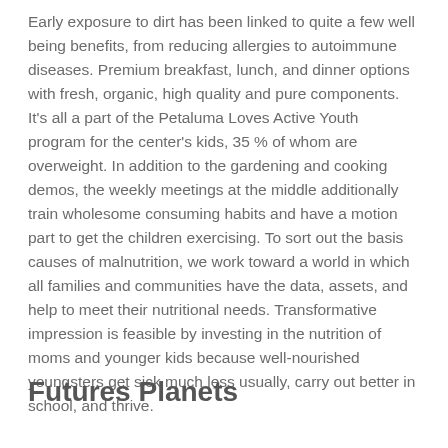Early exposure to dirt has been linked to quite a few well being benefits, from reducing allergies to autoimmune diseases. Premium breakfast, lunch, and dinner options with fresh, organic, high quality and pure components. It's all a part of the Petaluma Loves Active Youth program for the center's kids, 35 % of whom are overweight. In addition to the gardening and cooking demos, the weekly meetings at the middle additionally train wholesome consuming habits and have a motion part to get the children exercising. To sort out the basis causes of malnutrition, we work toward a world in which all families and communities have the data, assets, and help to meet their nutritional needs. Transformative impression is feasible by investing in the nutrition of moms and younger kids because well-nourished youngsters get sick much less usually, carry out better in school, and thrive.
Futures Planets